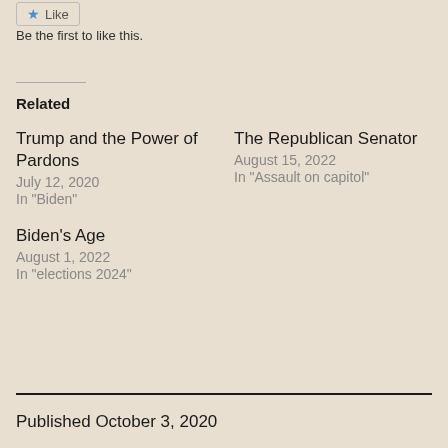[Figure (other): Like button with star icon]
Be the first to like this.
Related
Trump and the Power of Pardons
July 12, 2020
In "Biden"
The Republican Senator
August 15, 2022
In "Assault on capitol"
Biden's Age
August 1, 2022
In "elections 2024"
Published October 3, 2020